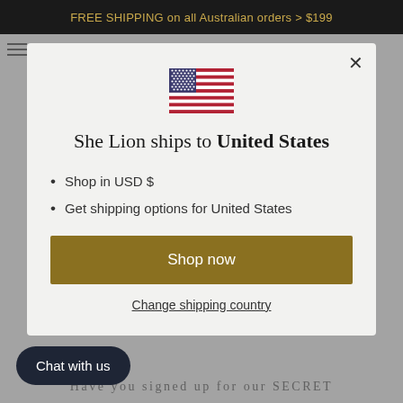FREE SHIPPING on all Australian orders > $199
[Figure (illustration): US flag icon displayed at center top of modal dialog]
She Lion ships to United States
Shop in USD $
Get shipping options for United States
Shop now
Change shipping country
Chat with us
Have you signed up for our SECRET